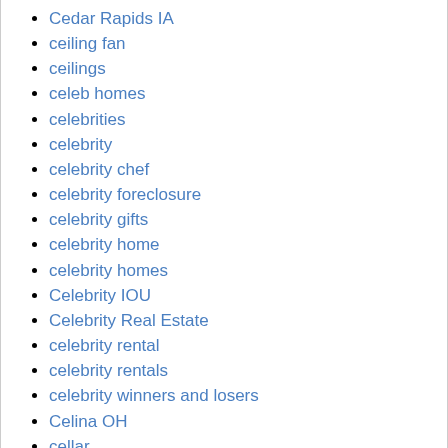Cedar Rapids IA
ceiling fan
ceilings
celeb homes
celebrities
celebrity
celebrity chef
celebrity foreclosure
celebrity gifts
celebrity home
celebrity homes
Celebrity IOU
Celebrity Real Estate
celebrity rental
celebrity rentals
celebrity winners and losers
Celina OH
cellar
cemetery